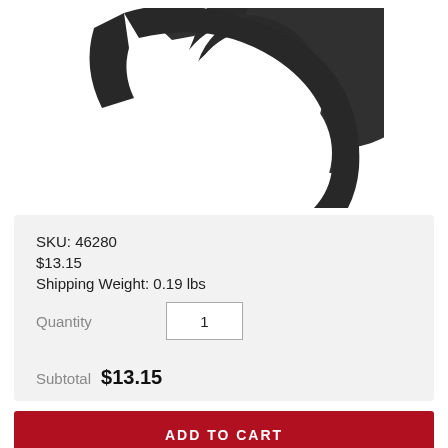[Figure (photo): A black crescent/open-end wrench tool (flare nut wrench or spanner) photographed on white background, viewed from above at slight angle. The tool is dark/black metal with a C-shaped opening.]
SKU: 46280
$13.15
Shipping Weight: 0.19 lbs
Quantity  1
Subtotal $13.15
ADD TO CART